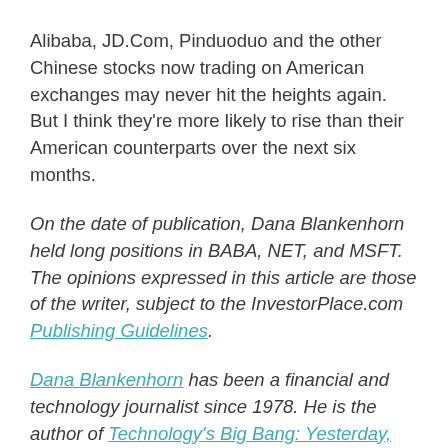Alibaba, JD.Com, Pinduoduo and the other Chinese stocks now trading on American exchanges may never hit the heights again. But I think they're more likely to rise than their American counterparts over the next six months.
On the date of publication, Dana Blankenhorn held long positions in BABA, NET, and MSFT. The opinions expressed in this article are those of the writer, subject to the InvestorPlace.com Publishing Guidelines.
Dana Blankenhorn has been a financial and technology journalist since 1978. He is the author of Technology's Big Bang: Yesterday, Today and Tomorrow with Moore's Law, available at the Amazon Kindle store. Write him at danablankenhorn@gmail.com, tweet him at